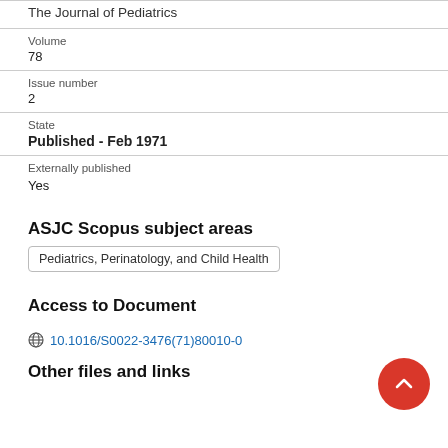The Journal of Pediatrics
Volume
78
Issue number
2
State
Published - Feb 1971
Externally published
Yes
ASJC Scopus subject areas
Pediatrics, Perinatology, and Child Health
Access to Document
10.1016/S0022-3476(71)80010-0
Other files and links